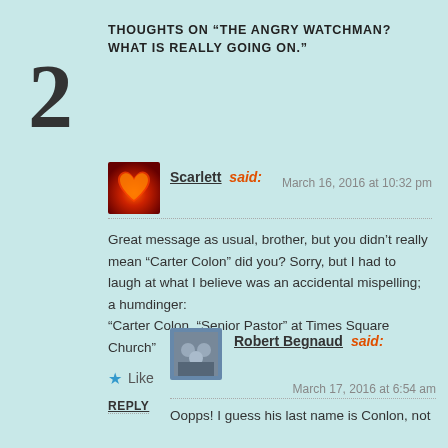THOUGHTS ON “THE ANGRY WATCHMAN? WHAT IS REALLY GOING ON.”
2
Scarlett said:
March 16, 2016 at 10:32 pm
Great message as usual, brother, but you didn’t really mean “Carter Colon” did you? Sorry, but I had to laugh at what I believe was an accidental mispelling; a humdinger:
“Carter Colon, “Senior Pastor” at Times Square Church”
★ Like
REPLY
Robert Begnaud said:
March 17, 2016 at 6:54 am
Oopps! I guess his last name is Conlon, not